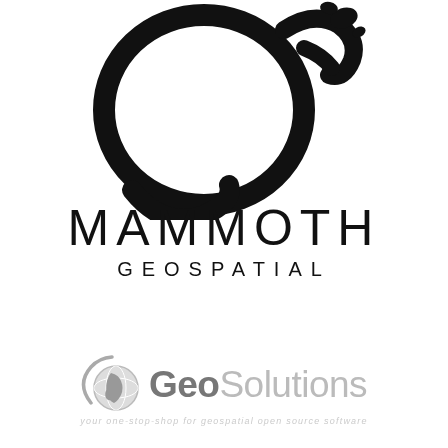[Figure (logo): Mammoth Geospatial logo: abstract black brush-stroke mammoth silhouette (large circular tusk and trunk shape) above the company name]
MAMMOTH
GEOSPATIAL
[Figure (logo): GeoSolutions logo: grey globe icon with swoosh and the text GeoSolutions with tagline 'your one-stop-shop for geospatial open source software']